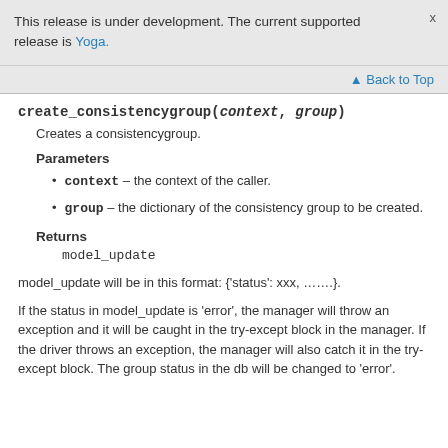This release is under development. The current supported release is Yoga.
Back to Top
create_consistencygroup(context, group)
Creates a consistencygroup.
Parameters
context – the context of the caller.
group – the dictionary of the consistency group to be created.
Returns
model_update
model_update will be in this format: {'status': xxx, …….}.
If the status in model_update is 'error', the manager will throw an exception and it will be caught in the try-except block in the manager. If the driver throws an exception, the manager will also catch it in the try-except block. The group status in the db will be changed to 'error'.